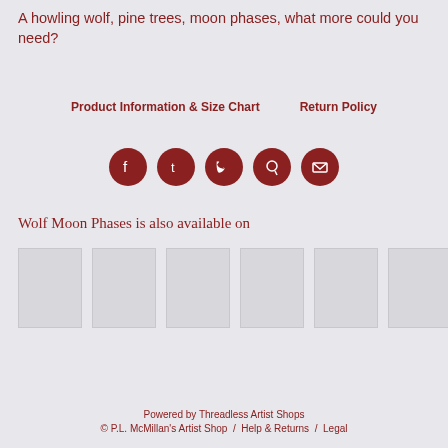A howling wolf, pine trees, moon phases, what more could you need?
Product Information & Size Chart     Return Policy
[Figure (other): Row of 5 social media icon buttons (Facebook, Tumblr, Twitter, Pinterest, Email) as dark red circles with white icons]
Wolf Moon Phases is also available on
[Figure (other): Row of 6 blank/placeholder product thumbnail images]
Powered by Threadless Artist Shops
© P.L. McMillan's Artist Shop  /  Help & Returns  /  Legal